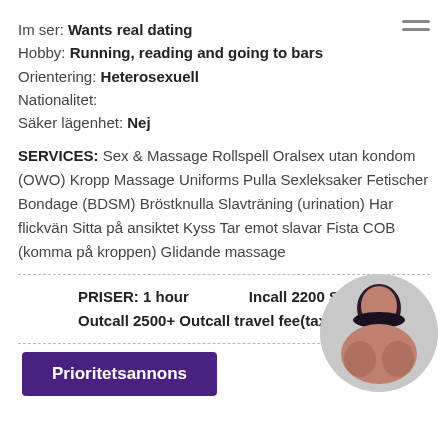Im ser: Wants real dating
Hobby: Running, reading and going to bars
Orientering: Heterosexuell
Nationalitet:
Säker lägenhet: Nej
SERVICES: Sex & Massage Rollspell Oralsex utan kondom (OWO) Kropp Massage Uniforms Pulla Sexleksaker Fetischer Bondage (BDSM) Bröstknulla Slavträning (urination) Har flickvän Sitta på ansiktet Kyss Tar emot slavar Fista COB (komma på kroppen) Glidande massage
PRISER: 1 hour   Incall 2200 SEK
Outcall 2500+ Outcall travel fee(taxi)
[Figure (photo): Circular cropped photo of a woman]
Prioritetsannons